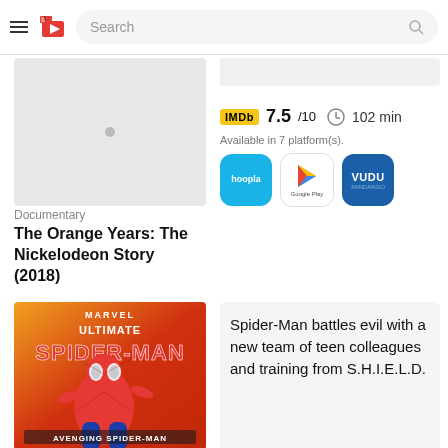Search
[Figure (photo): Gray placeholder poster with a small dot in the center]
Documentary
The Orange Years: The Nickelodeon Story (2018)
IMDb 7.5/10  102 min
Available in 7 platform(s).
[Figure (logo): Hoopla, Google Play, and Vudu platform icons]
Spider-Man battles evil with a new team of teen colleagues and training from S.H.I.E.L.D.
[Figure (illustration): Marvel Ultimate Spider-Man: Avenging Spider-Man poster with Spider-Man in red and blue suit on orange/red background]